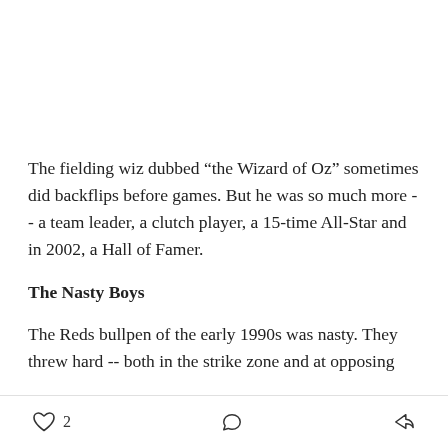The fielding wiz dubbed “the Wizard of Oz” sometimes did backflips before games. But he was so much more -- a team leader, a clutch player, a 15-time All-Star and in 2002, a Hall of Famer.
The Nasty Boys
The Reds bullpen of the early 1990s was nasty. They threw hard -- both in the strike zone and at opposing
2